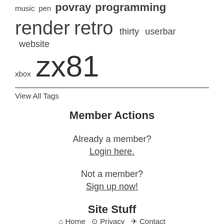music  pen  povray  programming
render  retro  thirty  userbar  website
xbox  zx81
View All Tags
Member Actions
Already a member?
Login here.
Not a member?
Sign up now!
Site Stuff
Home  Privacy  Contact